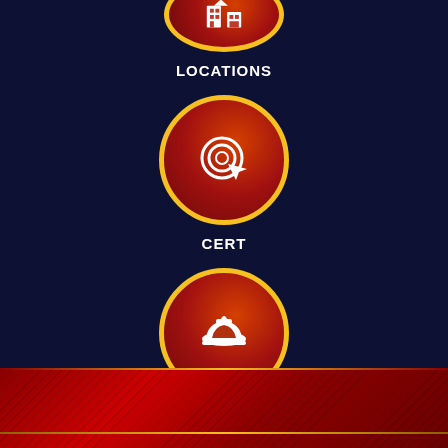[Figure (infographic): Three circular icon buttons on dark navy background. First circle (partially visible at top) has a building/location icon with gold border, labeled LOCATIONS. Second circle has a target/cursor icon with gold border, labeled CERT. Third circle has a fire helmet icon with gold border, labeled EMPLOYEES ONLY.]
LOCATIONS
CERT
EMPLOYEES ONLY
[Figure (illustration): Red textured footer band with diagonal stripe pattern and a gold horizontal line near the bottom.]